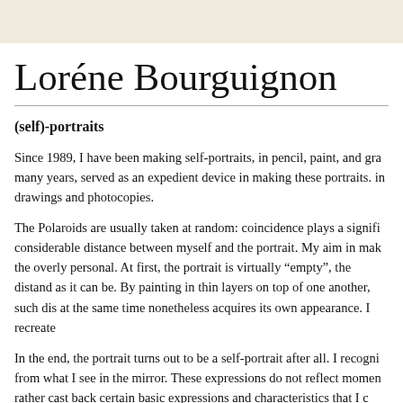Loréne Bourguignon
(self)-portraits
Since 1989, I have been making self-portraits, in pencil, paint, and gra many years, served as an expedient device in making these portraits. in drawings and photocopies.
The Polaroids are usually taken at random: coincidence plays a signifi considerable distance between myself and the portrait. My aim in mak the overly personal. At first, the portrait is virtually "empty", the distand as it can be. By painting in thin layers on top of one another, such dis at the same time nonetheless acquires its own appearance. I recreate
In the end, the portrait turns out to be a self-portrait after all. I recogni from what I see in the mirror. These expressions do not reflect momen rather cast back certain basic expressions and characteristics that I c Through these paintings, I look myself in the face again.